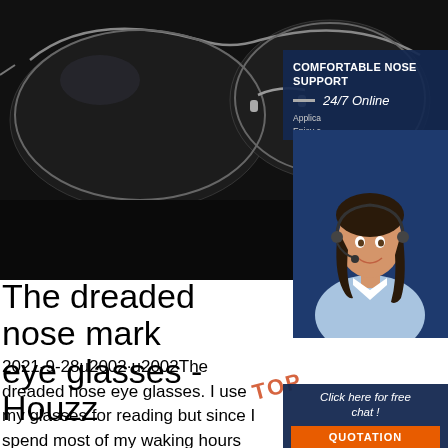[Figure (photo): Close-up photo of eyeglasses on a dark background, showing the nose bridge area, silver frames, with a dark blurry background]
[Figure (infographic): Advertisement overlay showing 'COMFORTABLE NOSE SUPPORT' heading, '24/7 Online' text, partial text about 'Application' and 'Enjoy a...', a photo of a female customer service agent wearing a headset, 'Click here for free chat!' text, and an orange QUOTATION button]
The dreaded nose mark eye glasses - Houzz
2021-9-28u2002·u2002The dreaded nose eye glasses. I use my glasses for reading but since I spend most of my waking hours reading in one form or another I wear them until turning off the lights at night. When we go out for dinner I like to go without glasses and only use them to peruse the menu. Because of my